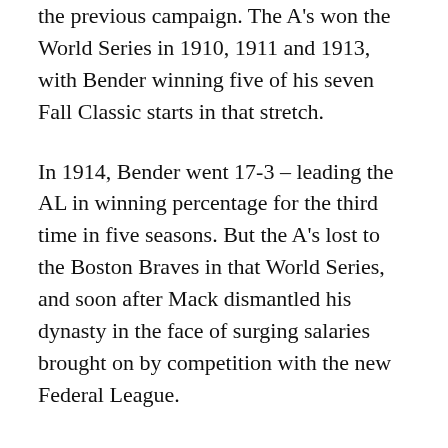the previous campaign. The A's won the World Series in 1910, 1911 and 1913, with Bender winning five of his seven Fall Classic starts in that stretch.
In 1914, Bender went 17-3 – leading the AL in winning percentage for the third time in five seasons. But the A's lost to the Boston Braves in that World Series, and soon after Mack dismantled his dynasty in the face of surging salaries brought on by competition with the new Federal League.
Bender jumped to the Baltimore Terrapins of the FL in 1915, but went 4-16 with a 3.99 ERA. He returned to Philadelphia to pitch for the Phillies in 1916 and 1917, then made his last big league appearance in 1925 with the White Sox.